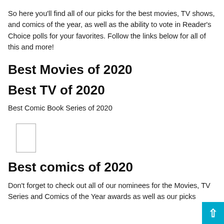So here you'll find all of our picks for the best movies, TV shows, and comics of the year, as well as the ability to vote in Reader's Choice polls for your favorites. Follow the links below for all of this and more!
Best Movies of 2020
Best TV of 2020
Best Comic Book Series of 2020
[Figure (other): Small rectangular image placeholder with border]
Best comics of 2020
Don't forget to check out all of our nominees for the Movies, TV Series and Comics of the Year awards as well as our picks